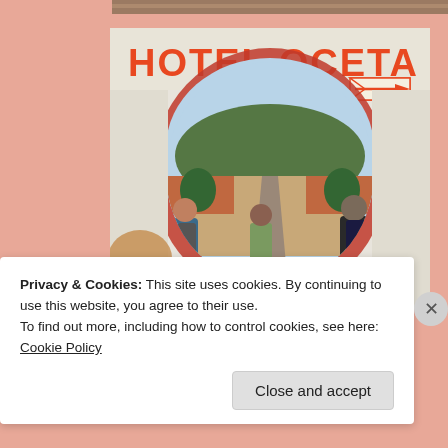[Figure (photo): Hotel Oceta sign above an archway view looking down a steep street in a Colombian town, with mountains in the background and three travelers standing beneath the arch]
— Steep climb out of town
Privacy & Cookies: This site uses cookies. By continuing to use this website, you agree to their use.
To find out more, including how to control cookies, see here: Cookie Policy
Close and accept